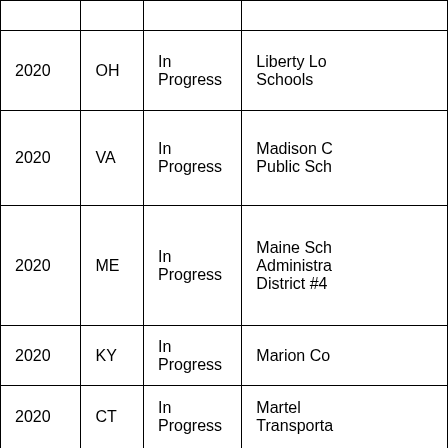|  |  |  |  |
| 2020 | OH | In Progress | Liberty Lo... Schools |
| 2020 | VA | In Progress | Madison C... Public Sch... |
| 2020 | ME | In Progress | Maine Sch... Administra... District #4... |
| 2020 | KY | In Progress | Marion Co... |
| 2020 | CT | In Progress | Martel Transporta... |